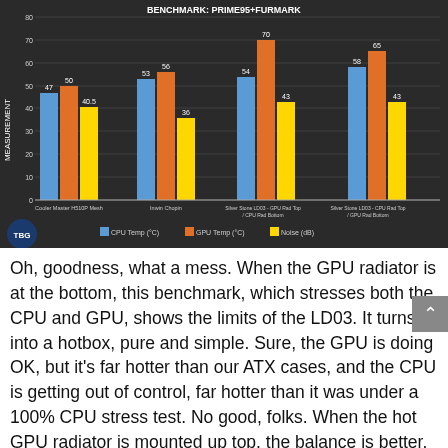[Figure (grouped-bar-chart): Benchmark: Prime95+FurMark]
Oh, goodness, what a mess. When the GPU radiator is at the bottom, this benchmark, which stresses both the CPU and GPU, shows the limits of the LD03. It turns into a hotbox, pure and simple. Sure, the GPU is doing OK, but it's far hotter than our ATX cases, and the CPU is getting out of control, far hotter than it was under a 100% CPU stress test. No good, folks. When the hot GPU radiator is mounted up top, the balance is better, but both the CPU and GPU are still quite a bit hotter than our ATX cases.